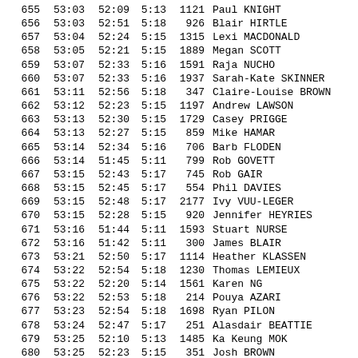| Place | Time1 | Time2 | Pace | Bib | Name |
| --- | --- | --- | --- | --- | --- |
| 655 | 53:03 | 52:09 | 5:13 | 1121 | Paul KNIGHT |
| 656 | 53:03 | 52:51 | 5:18 | 926 | Blair HIRTLE |
| 657 | 53:04 | 52:24 | 5:15 | 1315 | Lexi MACDONALD |
| 658 | 53:05 | 52:21 | 5:15 | 1889 | Megan SCOTT |
| 659 | 53:07 | 52:33 | 5:16 | 1591 | Raja NUCHO |
| 660 | 53:07 | 52:33 | 5:16 | 1937 | Sarah-Kate SKINNER |
| 661 | 53:11 | 52:56 | 5:18 | 347 | Claire-Louise BROWN |
| 662 | 53:12 | 52:23 | 5:15 | 1197 | Andrew LAWSON |
| 663 | 53:13 | 52:30 | 5:15 | 1729 | Casey PRIGGE |
| 664 | 53:13 | 52:27 | 5:15 | 859 | Mike HAMAR |
| 665 | 53:14 | 52:34 | 5:16 | 706 | Barb FLODEN |
| 666 | 53:14 | 51:45 | 5:11 | 799 | Rob GOVETT |
| 667 | 53:15 | 52:43 | 5:17 | 745 | Rob GAIR |
| 668 | 53:15 | 52:45 | 5:17 | 554 | Phil DAVIES |
| 669 | 53:15 | 52:48 | 5:17 | 2177 | Ivy VUU-LEGER |
| 670 | 53:15 | 52:28 | 5:15 | 920 | Jennifer HEYRIES |
| 671 | 53:16 | 51:44 | 5:11 | 1593 | Stuart NURSE |
| 672 | 53:16 | 51:42 | 5:11 | 300 | James BLAIR |
| 673 | 53:21 | 52:50 | 5:17 | 1114 | Heather KLASSEN |
| 674 | 53:22 | 52:54 | 5:18 | 1230 | Thomas LEMIEUX |
| 675 | 53:22 | 52:20 | 5:14 | 1561 | Karen NG |
| 676 | 53:22 | 52:53 | 5:18 | 214 | Pouya AZARI |
| 677 | 53:23 | 52:54 | 5:18 | 1698 | Ryan PILON |
| 678 | 53:24 | 52:47 | 5:17 | 251 | Alasdair BEATTIE |
| 679 | 53:25 | 52:10 | 5:13 | 1485 | Ka Keung MOK |
| 680 | 53:25 | 52:23 | 5:15 | 351 | Josh BROWN |
| 681 | 53:26 | 52:57 | 5:18 | 1759 | Trish RATCLIFFE |
| 682 | 53:27 | 52:55 | 5:18 | 1731 | Monika PROKOPOWICZ |
| 683 | 53:28 | 52:55 | 5:18 | 598 | Jennifer DOBER |
| 684 | 53:30 | 52:51 | 5:18 | 516 | Peter COSENTINO |